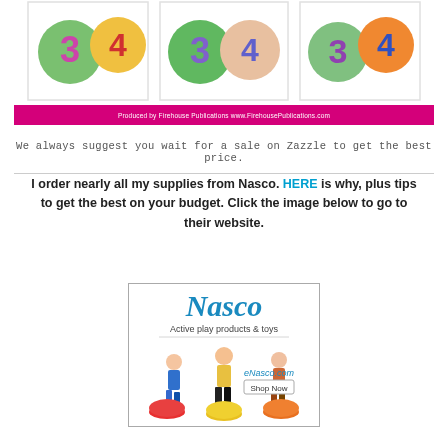[Figure (photo): Three pairs of colorful numbered ball graphics (3 and 4) shown in different artistic styles across three boxes]
Produced by Firehouse Publications www.FirehousePublications.com
We always suggest you wait for a sale on Zazzle to get the best price.
I order nearly all my supplies from Nasco. HERE is why, plus tips to get the best on your budget. Click the image below to go to their website.
[Figure (photo): Nasco Active play products & toys advertisement showing children playing on balance stepping stones, with eNasco.com Shop Now button]